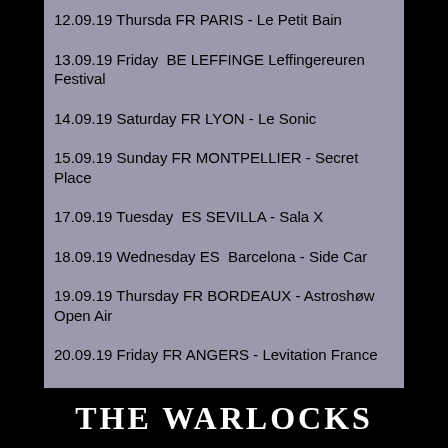12.09.19 Thursda FR PARIS - Le Petit Bain
13.09.19 Friday  BE LEFFINGE Leffingereuren Festival
14.09.19 Saturday FR LYON - Le Sonic
15.09.19 Sunday FR MONTPELLIER - Secret Place
17.09.19 Tuesday  ES SEVILLA - Sala X
18.09.19 Wednesday ES  Barcelona - Side Car
19.09.19 Thursday FR BORDEAUX - Astroshøw Open Air
20.09.19 Friday FR ANGERS - Levitation France
21.09.19 Saturday CH SION - Le Port Franc
THE WARLOCKS